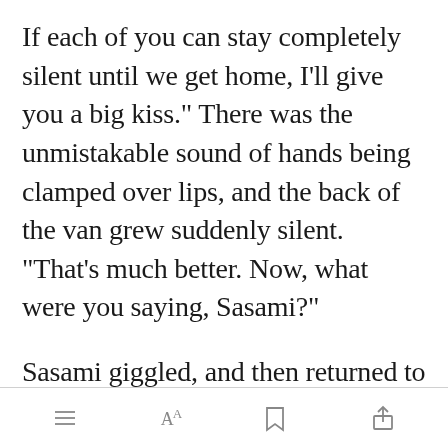If each of you can stay completely silent until we get home, I'll give you a big kiss." There was the unmistakable sound of hands being clamped over lips, and the back of the van grew suddenly silent. "That's much better. Now, what were you saying, Sasami?"
Sasami giggled, and then returned to her evaluat[Open in app]e chocolate
[menu icon] AA [bookmark icon] [share icon]